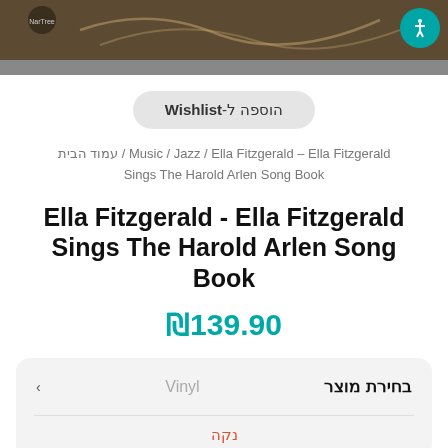[Figure (photo): Album cover image partial view with brownish tones, NarTree label visible]
הוספה ל-Wishlist
Music / Jazz / Ella Fitzgerald – Ella Fitzgerald / עמוד הבית
Sings The Harold Arlen Song Book
Ella Fitzgerald - Ella Fitzgerald Sings The Harold Arlen Song Book
₪139.90
בחירת מוצר  Vinyl
נקה